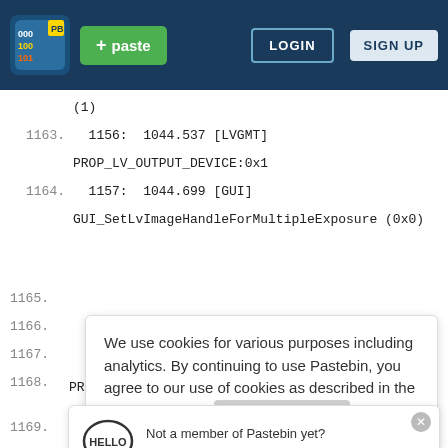[Figure (screenshot): Pastebin website screenshot showing navigation bar with logo, paste button, login and sign up buttons, code view with line numbers, cookie consent banner, sign up popup, and Walgreens advertisement]
(1)
1163.   1156:  1044.537 [LVGMT]
PROP_LV_OUTPUT_DEVICE:0x1
1164.   1157:  1044.699 [GUI]
GUI_SetLvImageHandleForMultipleExposure (0x0)
We use cookies for various purposes including analytics. By continuing to use Pastebin, you agree to our use of cookies as described in the Cookies Policy.   OK, I Understand
PR
Not a member of Pastebin yet? Sign Up, it unlocks many cool features!
ST.
Shop Health & Wellness Walgreens Photo